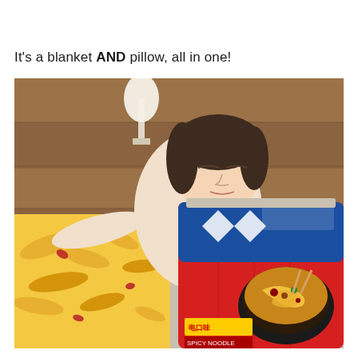It's a blanket AND pillow, all in one!
[Figure (photo): A woman lying on a bed with her eyes closed, resting on a pillow shaped like a ramen noodle package (red and blue branded packaging with a bowl of noodles printed on it), and covered by a blanket printed with a noodle/ramen design.]